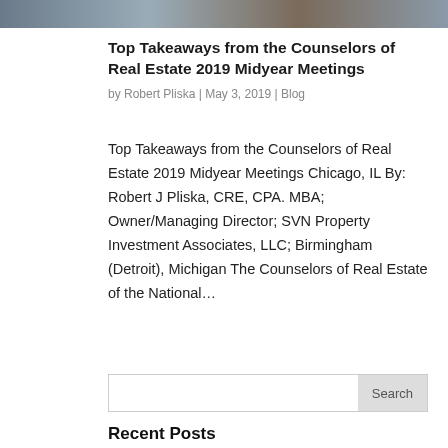[Figure (photo): Header banner image showing a cityscape or group of people, cropped at the top of the page]
Top Takeaways from the Counselors of Real Estate 2019 Midyear Meetings
by Robert Pliska | May 3, 2019 | Blog
Top Takeaways from the Counselors of Real Estate 2019 Midyear Meetings Chicago, IL By: Robert J Pliska, CRE, CPA. MBA; Owner/Managing Director; SVN Property Investment Associates, LLC; Birmingham (Detroit), Michigan The Counselors of Real Estate of the National…
« Older Entries
Search
Recent Posts